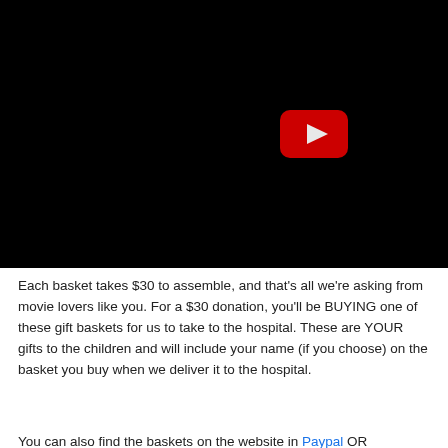[Figure (screenshot): Black YouTube video thumbnail/embed with YouTube play button icon (red rounded rectangle with white play triangle) positioned in the upper-right area of the video frame.]
Each basket takes $30 to assemble, and that's all we're asking from movie lovers like you. For a $30 donation, you'll be BUYING one of these gift baskets for us to take to the hospital. These are YOUR gifts to the children and will include your name (if you choose) on the basket you buy when we deliver it to the hospital.
You can also find the baskets on the website in Paypal OR